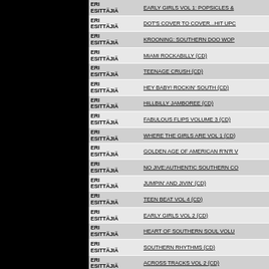| Artist | Title |
| --- | --- |
| ERI ESITTÄJIÄ | EARLY GIRLS VOL 1: POPSICLES &... |
| ERI ESITTÄJIÄ | DOT'S COVER TO COVER...HIT UPO... |
| ERI ESITTÄJIÄ | KROONING: SOUTHERN DOO WOP |
| ERI ESITTÄJIÄ | MIAMI ROCKABILLY (CD) |
| ERI ESITTÄJIÄ | TEENAGE CRUSH (CD) |
| ERI ESITTÄJIÄ | HEY BABY! ROCKIN' SOUTH (CD) |
| ERI ESITTÄJIÄ | HILLBILLY JAMBOREE (CD) |
| ERI ESITTÄJIÄ | FABULOUS FLIPS VOLUME 3 (CD) |
| ERI ESITTÄJIÄ | WHERE THE GIRLS ARE VOL 1 (CD) |
| ERI ESITTÄJIÄ | GOLDEN AGE OF AMERICAN R'N'R V... |
| ERI ESITTÄJIÄ | NO JIVE:AUTHENTIC SOUTHERN CO... |
| ERI ESITTÄJIÄ | JUMPIN' AND JIVIN' (CD) |
| ERI ESITTÄJIÄ | TEEN BEAT VOL 4 (CD) |
| ERI ESITTÄJIÄ | EARLY GIRLS VOL 2 (CD) |
| ERI ESITTÄJIÄ | HEART OF SOUTHERN SOUL VOLU... |
| ERI ESITTÄJIÄ | SOUTHERN RHYTHMS (CD) |
| ERI ESITTÄJIÄ | ACROSS TRACKS VOL 2 (CD) |
| ERI ESITTÄJIÄ | GREATEST JOHNNY OTIS SHOW (C... |